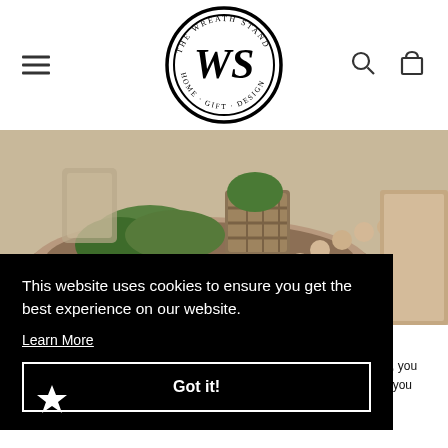[Figure (logo): The Wreath Stand logo - circular emblem with WS monogram and text 'The Wreath Stand Home · Gift · Design']
[Figure (photo): Hero image showing rustic home decor items: wooden dough bowl with wood beads, greenery, a wicker basket, and decorative items on a neutral background]
This website uses cookies to ensure you get the best experience on our website.
Learn More
Got it!
y, you t you